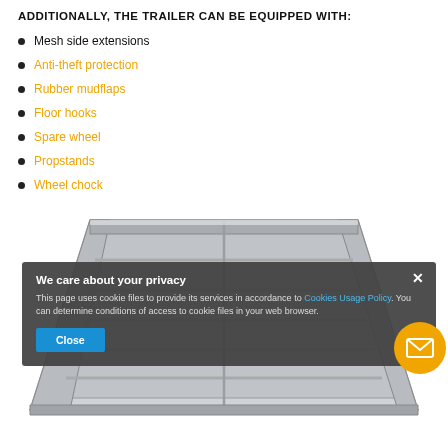ADDITIONALLY, THE TRAILER CAN BE EQUIPPED WITH:
Mesh side extensions
Anti-theft protection
Rubber mudflaps
Floor hooks
Spare wheel
Propstands
Wheel chock
[Figure (photo): Top-down view of an open flatbed trailer with side rails and cross bars, silver metallic construction]
We care about your privacy
This page uses cookie files to provide its services in accordance to Cookies Usage Policy. You can determine conditions of access to cookie files in your web browser.